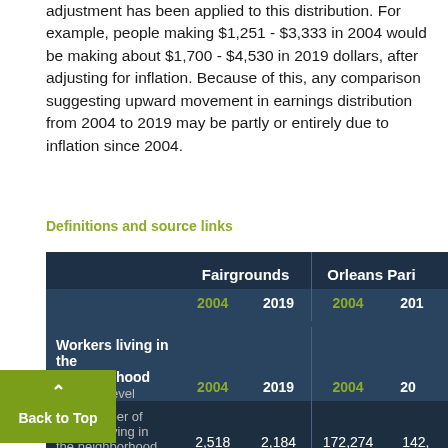adjustment has been applied to this distribution. For example, people making $1,251 - $3,333 in 2004 would be making about $1,700 - $4,530 in 2019 dollars, after adjusting for inflation. Because of this, any comparison suggesting upward movement in earnings distribution from 2004 to 2019 may be partly or entirely due to inflation since 2004.
Definitions and source links
|  | Fairgrounds |  | Orleans Parish |  |
| --- | --- | --- | --- | --- |
|  | 2004 | 2019 | 2004 | 2019 |
| Workers living in the neighborhood |  |  |  |  |
| by wage level |  |  |  |  |
| total number of workers living in the neighborhood | 2,518 | 2,184 | 172,274 | 142, |